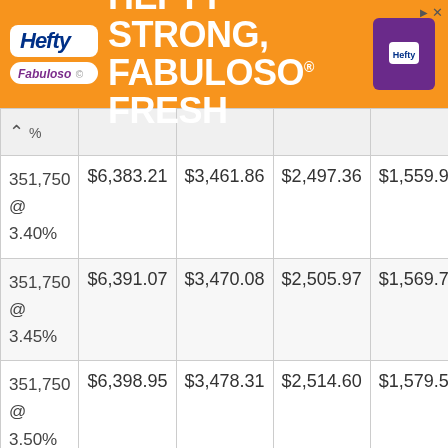[Figure (illustration): Hefty and Fabuloso advertisement banner with orange background. Text reads: HEFTY STRONG, FABULOSO FRESH]
| Loan Amount / Rate | 30 Year | 20 Year | 15 Year | 10 Year |
| --- | --- | --- | --- | --- |
| 351,750 @ 3.40% | $6,383.21 | $3,461.86 | $2,497.36 | $1,559.95 |
| 351,750 @ 3.45% | $6,391.07 | $3,470.08 | $2,505.97 | $1,569.71 |
| 351,750 @ 3.50% | $6,398.95 | $3,478.31 | $2,514.60 | $1,579.51 |
| 351,750 @ 3.55% | $6,406.83 | $3,486.56 | $2,523.25 | $1,589.35 |
| 351,750 @ ... | $6,414.71 | $3,494.81 | $2,531.91 | $1,599.22 |